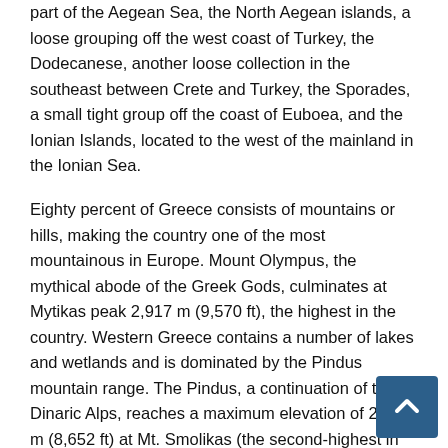part of the Aegean Sea, the North Aegean islands, a loose grouping off the west coast of Turkey, the Dodecanese, another loose collection in the southeast between Crete and Turkey, the Sporades, a small tight group off the coast of Euboea, and the Ionian Islands, located to the west of the mainland in the Ionian Sea.
Eighty percent of Greece consists of mountains or hills, making the country one of the most mountainous in Europe. Mount Olympus, the mythical abode of the Greek Gods, culminates at Mytikas peak 2,917 m (9,570 ft), the highest in the country. Western Greece contains a number of lakes and wetlands and is dominated by the Pindus mountain range. The Pindus, a continuation of the Dinaric Alps, reaches a maximum elevation of 2,637 m (8,652 ft) at Mt. Smolikas (the second-highest in Greece) and historically has been a significant barrier to east-west travel.
Northeastern Greece features another high-altitude mountain range, the Rhodope range, spreading across the region of Eastern Macedonia and Thrace; this area is covered with vast, thick, ancient forests, including the famous Dadia forest in the Evros...